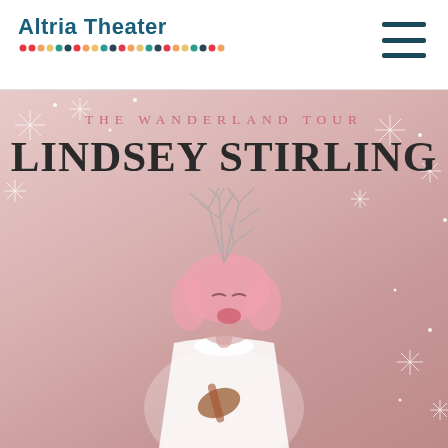Altria Theater
[Figure (photo): Concert promotional poster for Lindsey Stirling's Wanderland Tour at Altria Theater. Features Lindsey Stirling with pink hair, wearing a white dress, holding a violin, with a twig/branch crown on her head, laughing expressively. Background is a soft pinkish-mauve with snowflake decorations. Text overlay reads 'THE WANDERLAND TOUR' in pink spaced letters and 'LINDSEY STIRLING' in large dark serif font.]
THE WANDERLAND TOUR
LINDSEY STIRLING